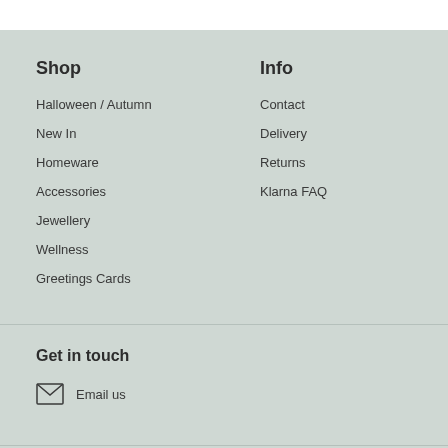Shop
Halloween / Autumn
New In
Homeware
Accessories
Jewellery
Wellness
Greetings Cards
Info
Contact
Delivery
Returns
Klarna FAQ
Get in touch
Email us
Follow us